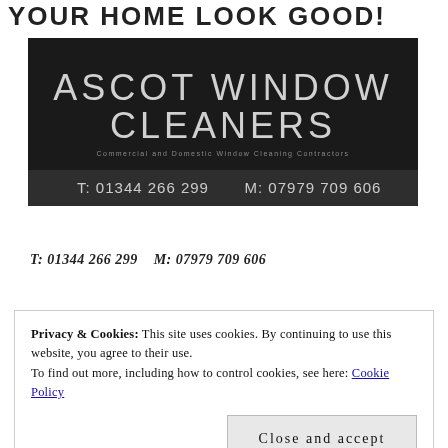YOUR HOME LOOK GOOD!
[Figure (logo): Ascot Window Cleaners logo on black background with text 'ASCOT WINDOW CLEANERS', subtitle 'Commercial and Domestic Window Cleaning Contractors', T: 01344 266 299, M: 07979 709 606]
T: 01344 266 299    M: 07979 709 606
Privacy & Cookies: This site uses cookies. By continuing to use this website, you agree to their use.
To find out more, including how to control cookies, see here: Cookie Policy
Close and accept